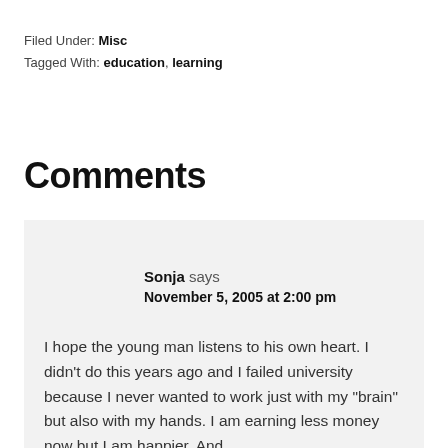Filed Under: Misc
Tagged With: education, learning
Comments
Sonja says
November 5, 2005 at 2:00 pm
I hope the young man listens to his own heart. I didn't do this years ago and I failed university because I never wanted to work just with my "brain" but also with my hands. I am earning less money now but I am happier. And